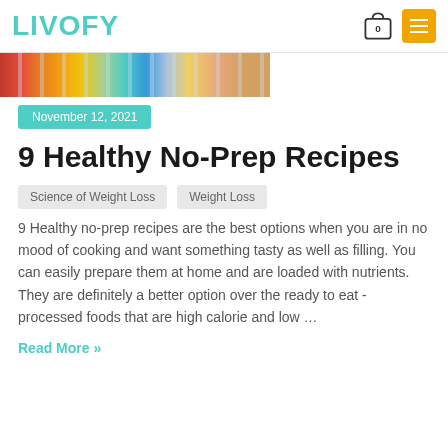LIVOFY
[Figure (photo): Colorful food photos showing various healthy dishes with vertical stripe overlay]
November 12, 2021
9 Healthy No-Prep Recipes
Science of Weight Loss  Weight Loss
9 Healthy no-prep recipes are the best options when you are in no mood of cooking and want something tasty as well as filling. You can easily prepare them at home and are loaded with nutrients. They are definitely a better option over the ready to eat -processed foods that are high calorie and low …
Read More »